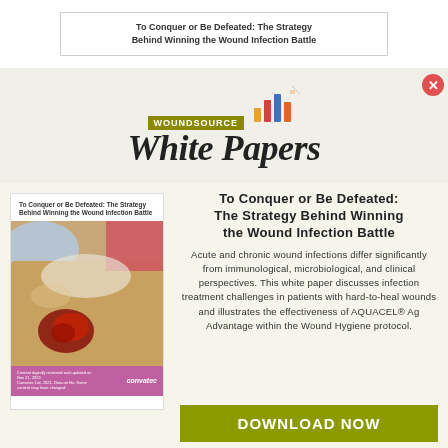To Conquer or Be Defeated: The Strategy Behind Winning the Wound Infection Battle
[Figure (logo): WoundSource White Papers logo with bar chart icon and italic script text]
[Figure (photo): White paper book cover showing wound care procedure on patient leg with title text and convatec branding on purple footer]
To Conquer or Be Defeated: The Strategy Behind Winning the Wound Infection Battle
Acute and chronic wound infections differ significantly from immunological, microbiological, and clinical perspectives. This white paper discusses infection treatment challenges in patients with hard-to-heal wounds and illustrates the effectiveness of AQUACEL® Ag Advantage within the Wound Hygiene protocol.
DOWNLOAD NOW